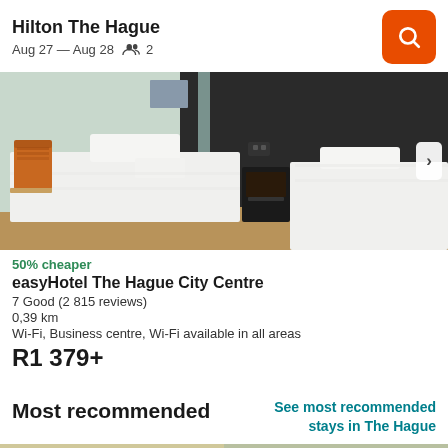Hilton The Hague
Aug 27 — Aug 28   2
[Figure (photo): Hotel room with two single beds with white linens, dark headboard, orange chair and desk visible on left. A next arrow button is on the right side.]
50% cheaper
easyHotel The Hague City Centre
7 Good (2 815 reviews)
0,39 km
Wi-Fi, Business centre, Wi-Fi available in all areas
R1 379+
Most recommended
See most recommended stays in The Hague
[Figure (photo): Bottom strip of a hotel room image, partially visible, green and beige tones.]